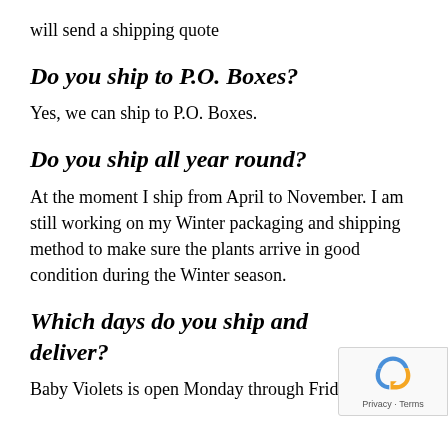will send a shipping quote
Do you ship to P.O. Boxes?
Yes, we can ship to P.O. Boxes.
Do you ship all year round?
At the moment I ship from April to November. I am still working on my Winter packaging and shipping method to make sure the plants arrive in good condition during the Winter season.
Which days do you ship and deliver?
Baby Violets is open Monday through Friday